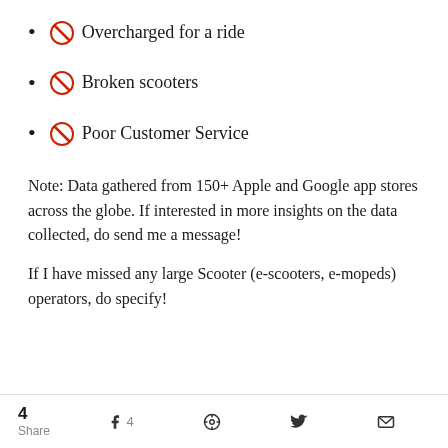🚫 Overcharged for a ride
🚫 Broken scooters
🚫 Poor Customer Service
Note: Data gathered from 150+ Apple and Google app stores across the globe. If interested in more insights on the data collected, do send me a message!
If I have missed any large Scooter (e-scooters, e-mopeds) operators, do specify!
4 Share  f 4  Pinterest  Twitter  Mail